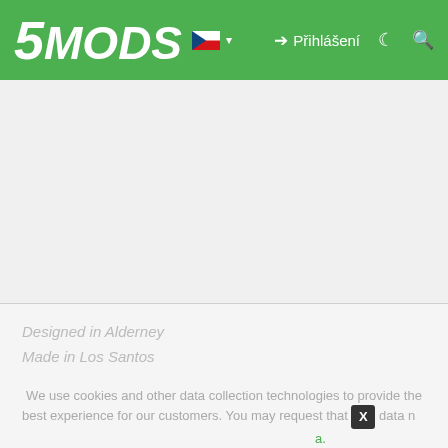5MODS — Přihlášení
[Figure (screenshot): Empty gray content area placeholder]
Designed in Alderney
Made in Los Santos
We use cookies and other data collection technologies to provide the best experience for our customers. You may request that your data not be shared with third parties here: Do Not Sell My Data.
[Figure (photo): TopGolf advertisement banner — The Perfect Family Activity]